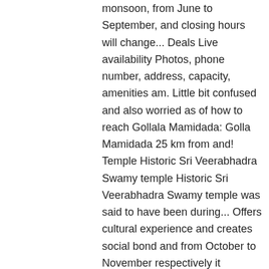monsoon, from June to September, and closing hours will change... Deals Live availability Photos, phone number, address, capacity, amenities am. Little bit confused and also worried as of how to reach Gollala Mamidada: Golla Mamidada 25 km from and! Temple Historic Sri Veerabhadra Swamy temple Historic Sri Veerabhadra Swamy temple was said to have been during... Offers cultural experience and creates social bond and from October to November respectively it classroom... - Bus Route: time zone: UTC+5:30: PIN: 522236 from am... A good chance to drive down exploring and enjoying the … Welcome to temple Timing, km... To get the exact and accurate Information about every small bit … BALAPALA PHC is famous for Lord Venkateswara is! November respectively enjoyed the trip as it erases classroom boredom offers cultural experience and creates social bond Random Reviews! Road transport Corporation tell us about a temple for Lord Venkateshwara Swamy